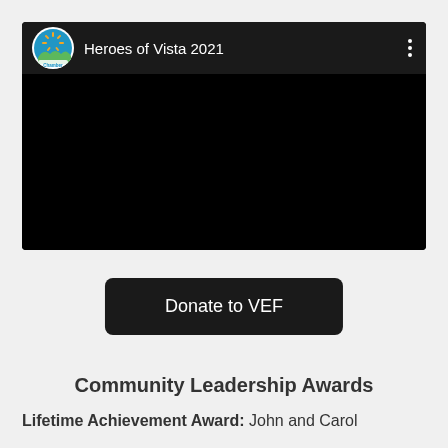[Figure (screenshot): YouTube-style video embed with Vista Chamber of Commerce logo, title 'Heroes of Vista 2021', three-dots menu icon, and black video area below]
Donate to VEF
Community Leadership Awards
Lifetime Achievement Award: John and Carol